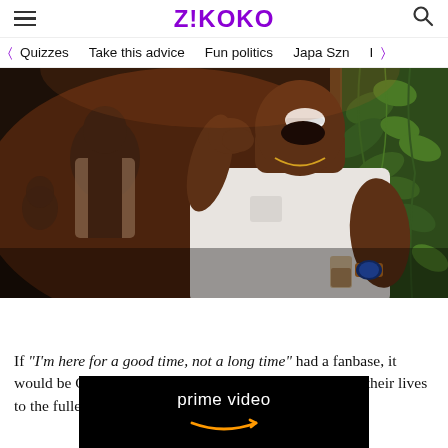Z!KOKO
Quizzes  Take this advice  Fun politics  Japa Szn
[Figure (photo): Man in white t-shirt laughing and holding a glass at a party, with green plants in background and another man visible behind him]
If "I'm here for a good time, not a long time" had a fanbase, it would be Cross's fans. Cross's fans are on earth to enjoy their lives to the fullest. Th... selfless p...